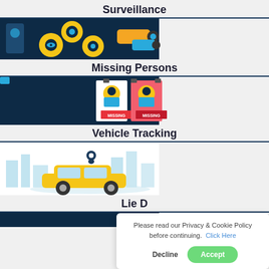Surveillance
[Figure (illustration): Surveillance cameras and security icons on dark blue background]
Missing Persons
[Figure (illustration): Two missing persons flyers with person icons on dark blue background]
Vehicle Tracking
[Figure (illustration): Yellow car with GPS location pin against city skyline]
Lie D
[Figure (illustration): Partial image at bottom, cut off]
Please read our Privacy & Cookie Policy before continuing.  Click Here
Decline
Accept